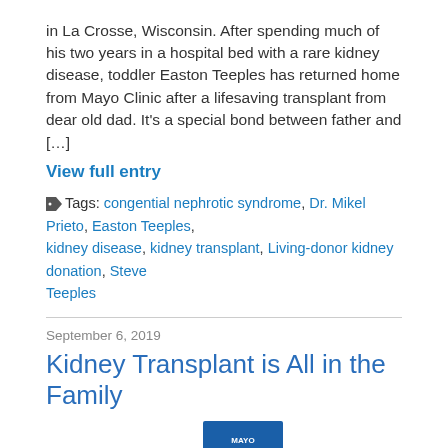in La Crosse, Wisconsin. After spending much of his two years in a hospital bed with a rare kidney disease, toddler Easton Teeples has returned home from Mayo Clinic after a lifesaving transplant from dear old dad. It's a special bond between father and […]
View full entry
Tags: congential nephrotic syndrome, Dr. Mikel Prieto, Easton Teeples, kidney disease, kidney transplant, Living-donor kidney donation, Steve Teeples
September 6, 2019
Kidney Transplant is All in the Family
By SharingMayoClinic
When Jose Ramirez learned his kidneys were failing and he needed a transplant, his sister Kelsey Ramirez-Macias immediately stepped forward to be his donor. With guidance from Mayo Clinic's Hispanic Transplant Program, the Ramirez family navigated the transplant process, and now Jose's health has been restored.